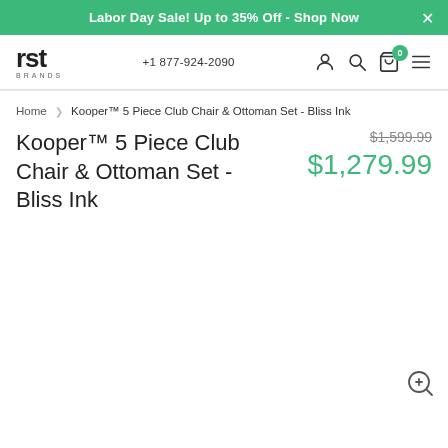Labor Day Sale! Up to 35% Off - Shop Now
[Figure (logo): RST Brands logo]
+1 877-924-2090
Home > Kooper™ 5 Piece Club Chair & Ottoman Set - Bliss Ink
Kooper™ 5 Piece Club Chair & Ottoman Set - Bliss Ink
$1,599.99 (original price, strikethrough) $1,279.99 (sale price)